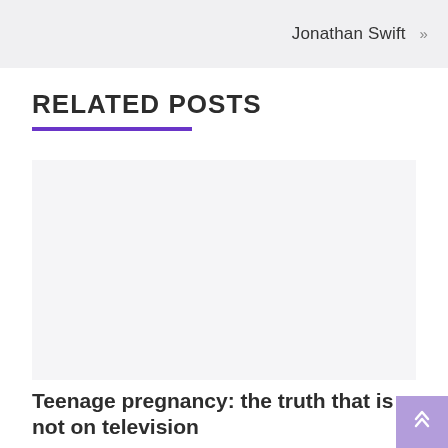Jonathan Swift »
RELATED POSTS
[Figure (other): Blank light grey image placeholder for a related post thumbnail]
Teenage pregnancy: the truth that is not on television
August 18, 2022